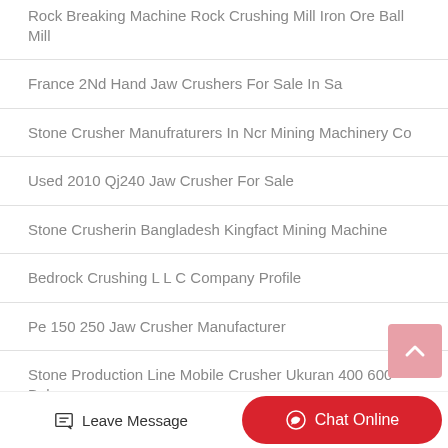Rock Breaking Machine Rock Crushing Mill Iron Ore Ball Mill
France 2Nd Hand Jaw Crushers For Sale In Sa
Stone Crusher Manufraturers In Ncr Mining Machinery Co
Used 2010 Qj240 Jaw Crusher For Sale
Stone Crusherin Bangladesh Kingfact Mining Machine
Bedrock Crushing L L C Company Profile
Pe 150 250 Jaw Crusher Manufacturer
Stone Production Line Mobile Crusher Ukuran 400 600 Bekas…
Leave Message  Chat Online